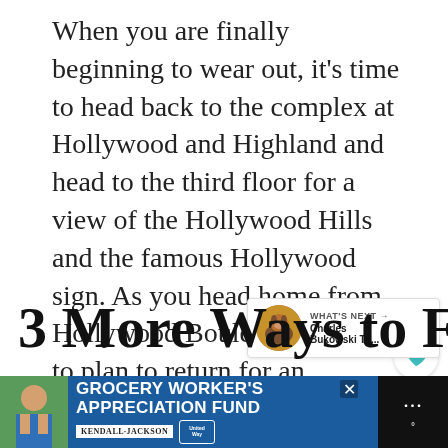When you are finally beginning to wear out, it's time to head back to the complex at Hollywood and Highland and head to the third floor for a view of the Hollywood Hills and the famous Hollywood sign. As you head home from Hollywood Boulevard, be sure to plan to return for an evening, because seeing Hollywood at night, with its new emerging image, clubs, restaurants, hotels, and new housing, is well worth another trip.
[Figure (other): Circular UI buttons: heart (favorite) icon and share icon on white circle backgrounds with drop shadow, positioned on right side]
[Figure (other): WHAT'S NEXT panel with circular thumbnail photo of animal, text reading 'Charles Bukowski To...']
3 More Ways to Find th
[Figure (screenshot): Advertisement banner: blue background with 'GROCERY WORKER'S APPRECIATION FUND' text, Kendall Jackson and United Way logos, person image on left, close button, and weather widget on right]